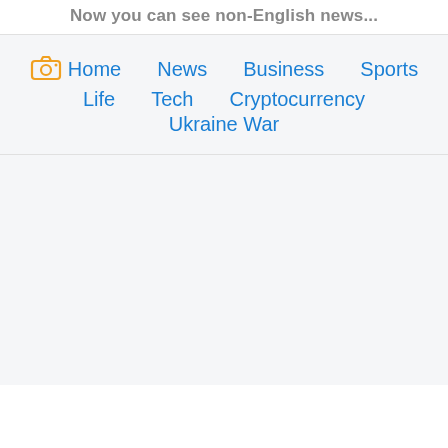Now you can see non-English news...
Home
News
Business
Sports
Life
Tech
Cryptocurrency
Ukraine War